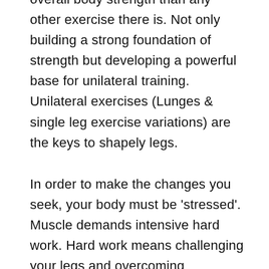overall body strength than any other exercise there is. Not only building a strong foundation of strength but developing a powerful base for unilateral training. Unilateral exercises (Lunges & single leg exercise variations) are the keys to shapely legs.
In order to make the changes you seek, your body must be 'stressed'. Muscle demands intensive hard work. Hard work means challenging your legs and overcoming adaptation. Exercises that include the squat